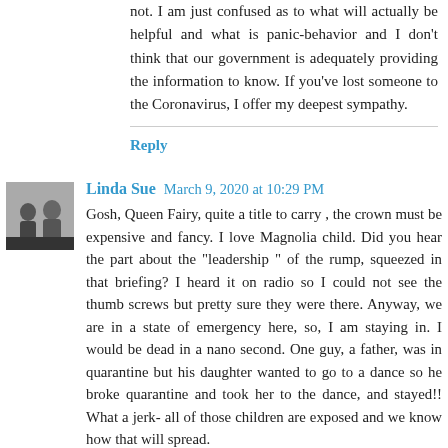not. I am just confused as to what will actually be helpful and what is panic-behavior and I don't think that our government is adequately providing the information to know. If you've lost someone to the Coronavirus, I offer my deepest sympathy.
Reply
Linda Sue  March 9, 2020 at 10:29 PM
Gosh, Queen Fairy, quite a title to carry , the crown must be expensive and fancy. I love Magnolia child. Did you hear the part about the "leadership " of the rump, squeezed in that briefing? I heard it on radio so I could not see the thumb screws but pretty sure they were there. Anyway, we are in a state of emergency here, so, I am staying in. I would be dead in a nano second. One guy, a father, was in quarantine but his daughter wanted to go to a dance so he broke quarantine and took her to the dance, and stayed!! What a jerk- all of those children are exposed and we know how that will spread.